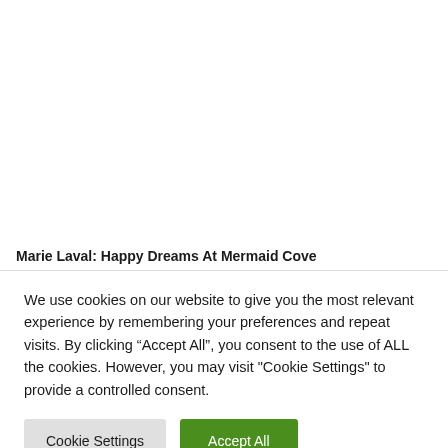Marie Laval: Happy Dreams At Mermaid Cove
We use cookies on our website to give you the most relevant experience by remembering your preferences and repeat visits. By clicking “Accept All”, you consent to the use of ALL the cookies. However, you may visit "Cookie Settings" to provide a controlled consent.
Cookie Settings
Accept All